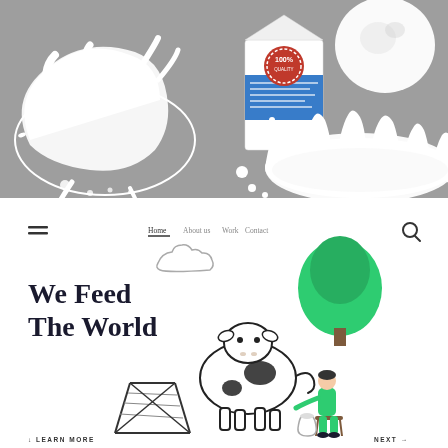[Figure (illustration): Gray background with 3D milk product illustrations: a milk carton box with 100% badge, a swirling milk splash on the left, a round milk splash droplet top right, and a large crown-shaped milk splash in the bottom right center.]
[Figure (screenshot): Website screenshot with white background. Navigation bar with hamburger menu icon, Home, About us, Work, Contact links, and search icon. Large bold text 'We Feed The World' on the left. Center illustration of a cow being milked by a person in green outfit, a green tree, a cloud outline, and a hay rack. Bottom: 'LEARN MORE' with down arrow on left, 'NEXT →' on right.]